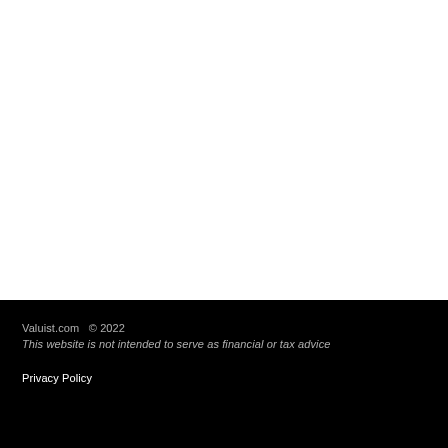Valuist.com  © 2022
This website is not intended to serve as financial or tax advice

Privacy Policy